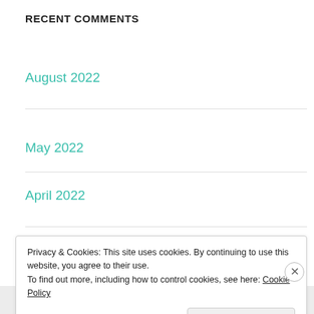RECENT COMMENTS
August 2022
May 2022
April 2022
March 2022
February 2022
Privacy & Cookies: This site uses cookies. By continuing to use this website, you agree to their use.
To find out more, including how to control cookies, see here: Cookie Policy
Close and accept
Advertisements